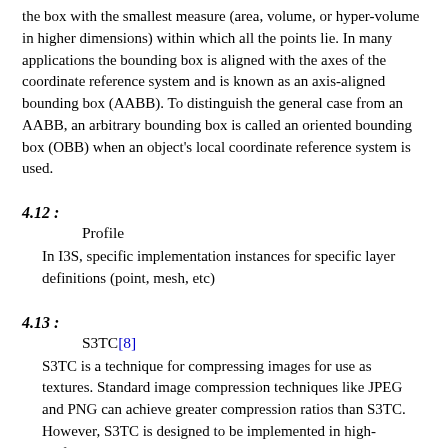the box with the smallest measure (area, volume, or hyper-volume in higher dimensions) within which all the points lie. In many applications the bounding box is aligned with the axes of the coordinate reference system and is known as an axis-aligned bounding box (AABB). To distinguish the general case from an AABB, an arbitrary bounding box is called an oriented bounding box (OBB) when an object's local coordinate reference system is used.
4.12 :
Profile
In I3S, specific implementation instances for specific layer definitions (point, mesh, etc)
4.13 :
S3TC[8]
S3TC is a technique for compressing images for use as textures. Standard image compression techniques like JPEG and PNG can achieve greater compression ratios than S3TC. However, S3TC is designed to be implemented in high-performance hardware. JPEG and PNG decompress images all-at-once, while S3TC allows specific sections of the image to be